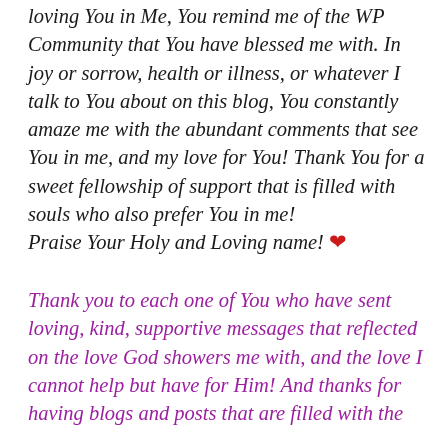loving You in Me, You remind me of the WP Community that You have blessed me with. In joy or sorrow, health or illness, or whatever I talk to You about on this blog, You constantly amaze me with the abundant comments that see You in me, and my love for You! Thank You for a sweet fellowship of support that is filled with souls who also prefer You in me! Praise Your Holy and Loving name! ❤
Thank you to each one of You who have sent loving, kind, supportive messages that reflected on the love God showers me with, and the love I cannot help but have for Him! And thanks for having blogs and posts that are filled with the